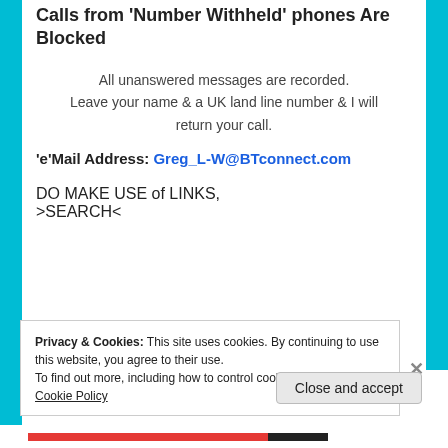Calls from 'Number Withheld' phones Are Blocked
All unanswered messages are recorded. Leave your name & a UK land line number & I will return your call.
'e'Mail Address: Greg_L-W@BTconnect.com
DO MAKE USE of LINKS,
>SEARCH<
Privacy & Cookies: This site uses cookies. By continuing to use this website, you agree to their use.
To find out more, including how to control cookies, see here: Cookie Policy
Close and accept